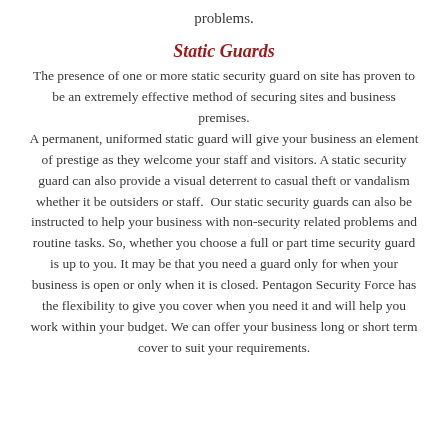problems.
Static Guards
The presence of one or more static security guard on site has proven to be an extremely effective method of securing sites and business premises. A permanent, uniformed static guard will give your business an element of prestige as they welcome your staff and visitors. A static security guard can also provide a visual deterrent to casual theft or vandalism whether it be outsiders or staff. Our static security guards can also be instructed to help your business with non-security related problems and routine tasks. So, whether you choose a full or part time security guard is up to you. It may be that you need a guard only for when your business is open or only when it is closed. Pentagon Security Force has the flexibility to give you cover when you need it and will help you work within your budget. We can offer your business long or short term cover to suit your requirements.